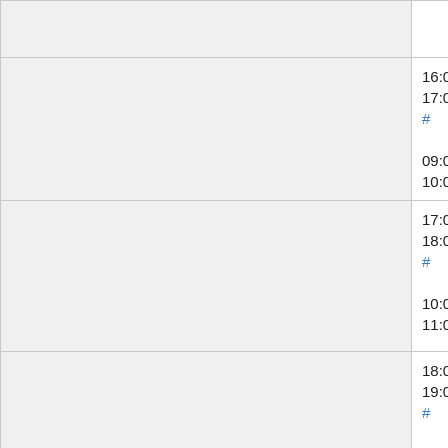|  | Time | Event | Names |
| --- | --- | --- | --- |
|  | or Zeljko (zelj... |  |  |
|  | 16:00–17:00 UTC # 09:00–10:00 PDT | Puppet SWAT (Max 8 patches) | Filippo (godog), (moritzm), Giu (_joe_) |
|  | 17:00–18:00 UTC # 10:00–11:00 PDT | Services – Graphoid / Parsoid / OCG / Citoid / ORES | Gabriel (gwick, C.Scott (cscot, (arlolra), Sub (subbu), Aaron (halfak), Amir (Amir1) |
|  | 18:00–19:00 UTC # | Morning SWAT | addshore, Ant (hashar), Brad (anomie), Cha (RainbowSpri, Katie (aude), M (MaxSem), Muk (twentyafter... |